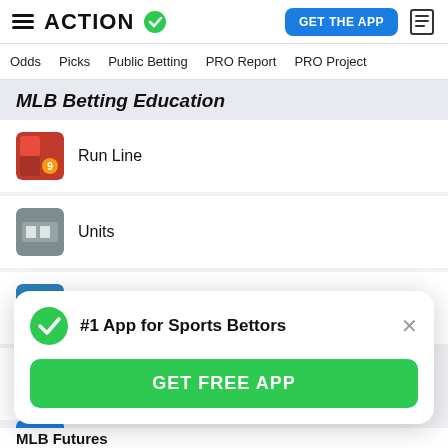ACTION  GET THE APP
Odds  Picks  Public Betting  PRO Report  PRO Project
MLB Betting Education
Run Line
Units
15 Tips for Betting Baseball
Betting Rules for Delayed Games
#1 App for Sports Bettors
GET FREE APP
MLB Futures